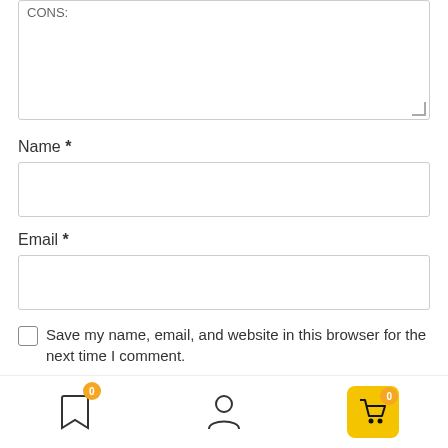CONS: (textarea, partially visible at top)
Name *
Email *
Save my name, email, and website in this browser for the next time I comment.
Submit
[Figure (screenshot): Bottom navigation bar with bookmark icon (badge 0), user/person icon, and shopping cart icon on yellow background (badge 0)]